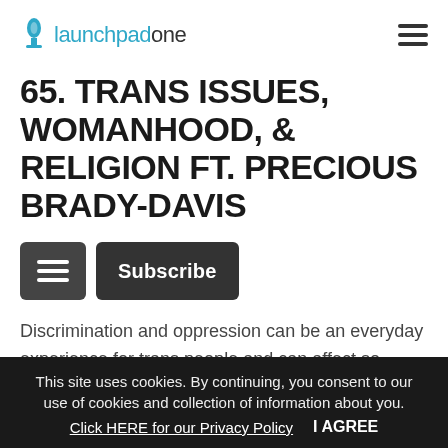launchpadone
65. TRANS ISSUES, WOMANHOOD, & RELIGION FT. PRECIOUS BRADY-DAVIS
Discrimination and oppression can be an everyday experience for trans people and can affect so many areas of their lives. Today we bring on reality star, activist, and author Precious Brady-Davis to speak on trans issues, being the first trans bride on Say Yes To The Dress, and her husband's
This site uses cookies. By continuing, you consent to our use of cookies and collection of information about you. Click HERE for our Privacy Policy   I AGREE